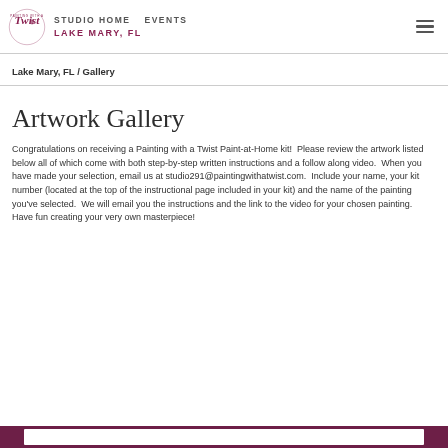STUDIO HOME  EVENTS  LAKE MARY, FL
Lake Mary, FL / Gallery
Artwork Gallery
Congratulations on receiving a Painting with a Twist Paint-at-Home kit!  Please review the artwork listed below all of which come with both step-by-step written instructions and a follow along video.  When you have made your selection, email us at studio291@paintingwithatwist.com.  Include your name, your kit number (located at the top of the instructional page included in your kit) and the name of the painting you've selected.  We will email you the instructions and the link to the video for your chosen painting.  Have fun creating your very own masterpiece!